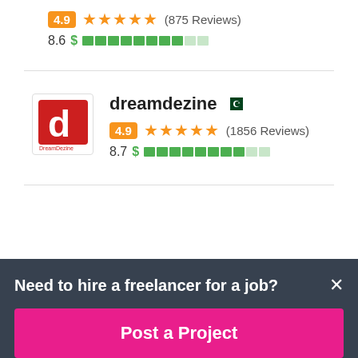4.9 ★★★★★ (875 Reviews)
8.6 $ price bar
[Figure (logo): dreamdezine logo: red square with white letter d, brand name below]
dreamdezine (Pakistan flag)
4.9 ★★★★★ (1856 Reviews)
8.7 $ price bar
Need to hire a freelancer for a job?
Post a Project